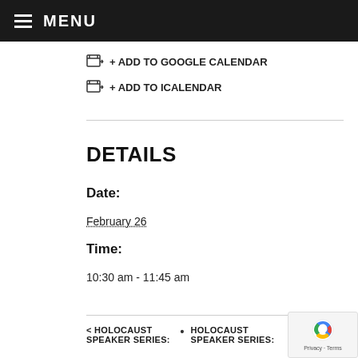MENU
+ ADD TO GOOGLE CALENDAR
+ ADD TO ICALENDAR
DETAILS
Date:
February 26
Time:
10:30 am - 11:45 am
< HOLOCAUST SPEAKER SERIES: • HOLOCAUST SPEAKER SERIES: